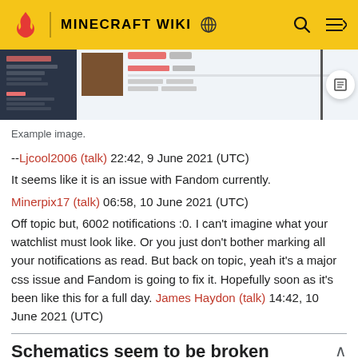MINECRAFT WIKI
[Figure (screenshot): Screenshot of a Minecraft Wiki page showing a sidebar navigation and content with an image thumbnail and table rows.]
Example image.
--Ljcool2006 (talk) 22:42, 9 June 2021 (UTC)
It seems like it is an issue with Fandom currently.
Minerpix17 (talk) 06:58, 10 June 2021 (UTC)
Off topic but, 6002 notifications :0. I can't imagine what your watchlist must look like. Or you just don't bother marking all your notifications as read. But back on topic, yeah it's a major css issue and Fandom is going to fix it. Hopefully soon as it's been like this for a full day. James Haydon (talk) 14:42, 10 June 2021 (UTC)
Schematics seem to be broken